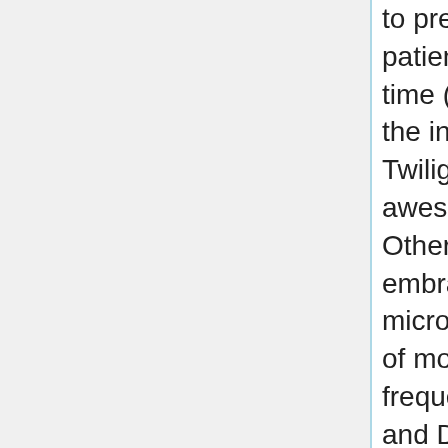to predict which drug can be best for that exact patient at the moment. Risk of varying the on time (TIME), the detection distance (SENS) and the intensity of the ambient light because of the Twilight Sensor (LUX). Thanks John, it's been awesome to have this switch in our laundry. Other kinds of mild that you'll have heard of embrace gamma rays, X-rays, ultraviolet, microwave, and radio. There are three varieties of motion sensors which might be used frequently: Passive Infrared (PIR), Microwave, and Dual Tech/Hybrid. Installed and monitoring within 15 minutes, these turnkey sensors difficulty an alert by way of textual content, email, or call if motion is made by people or animals at a range up to 5 meters (16')-at any time or throughout a consumer-specified